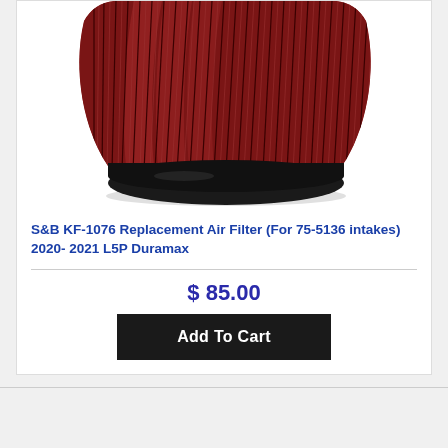[Figure (photo): Photo of a S&B KF-1076 red/maroon conical air filter with black rubber base, viewed from a slightly elevated angle showing the ribbed filter media.]
S&B KF-1076 Replacement Air Filter (For 75-5136 intakes) 2020- 2021 L5P Duramax
$ 85.00
Add To Cart